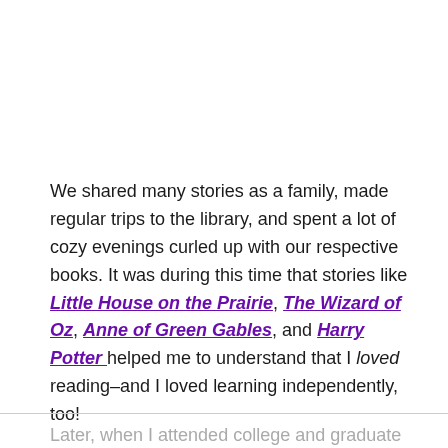We shared many stories as a family, made regular trips to the library, and spent a lot of cozy evenings curled up with our respective books. It was during this time that stories like Little House on the Prairie, The Wizard of Oz, Anne of Green Gables, and Harry Potter helped me to understand that I loved reading–and I loved learning independently, too!
Later, when I attended college and graduate